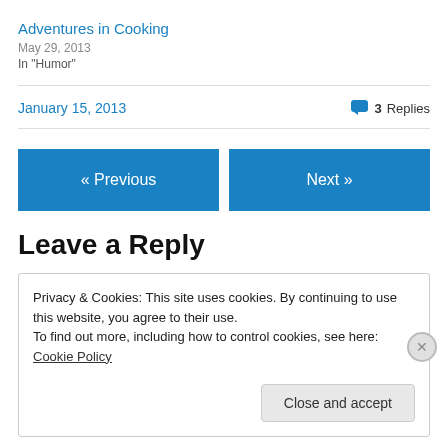Adventures in Cooking
May 29, 2013
In "Humor"
January 15, 2013  3 Replies
« Previous  Next »
Leave a Reply
Privacy & Cookies: This site uses cookies. By continuing to use this website, you agree to their use. To find out more, including how to control cookies, see here: Cookie Policy
Close and accept